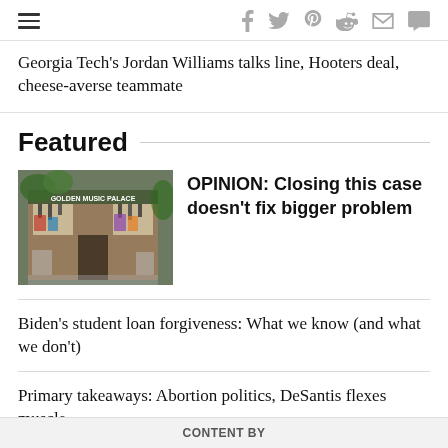Navigation bar with hamburger menu and social icons: Facebook, Twitter, Pinterest, Reddit, Mail, Comment
Georgia Tech's Jordan Williams talks line, Hooters deal, cheese-averse teammate
Featured
[Figure (photo): Outdoor store front with merchandise displays, signs, and products hanging outside a brick building]
OPINION: Closing this case doesn't fix bigger problem
Biden's student loan forgiveness: What we know (and what we don't)
Primary takeaways: Abortion politics, DeSantis flexes muscle
CONTENT BY